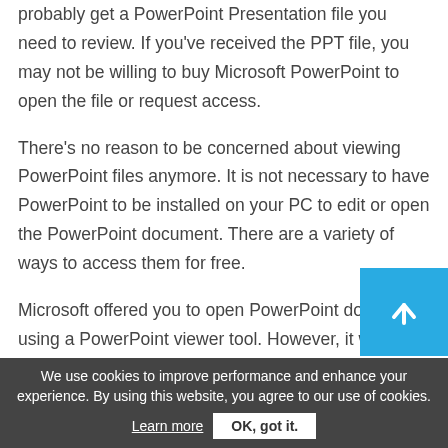probably get a PowerPoint Presentation file you need to review. If you've received the PPT file, you may not be willing to buy Microsoft PowerPoint to open the file or request access.
There's no reason to be concerned about viewing PowerPoint files anymore. It is not necessary to have PowerPoint to be installed on your PC to edit or open the PowerPoint document. There are a variety of ways to access them for free.
Microsoft offered you to open PowerPoint documents using a PowerPoint viewer tool. However, it was limi...
[Figure (other): Blue scroll-to-top button with white upward arrow icon]
We use cookies to improve performance and enhance your experience. By using this website, you agree to our use of cookies. Learn more   OK, got it.